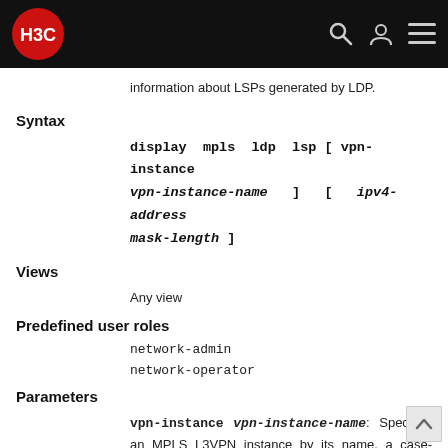H3C
information about LSPs generated by LDP.
Syntax
Views
Any view
Predefined user roles
network-admin
network-operator
Parameters
vpn-instance vpn-instance-name: Specifies an MPLS L3VPN instance by its name, a case-sensitive string of 1 to 31 characters. This command